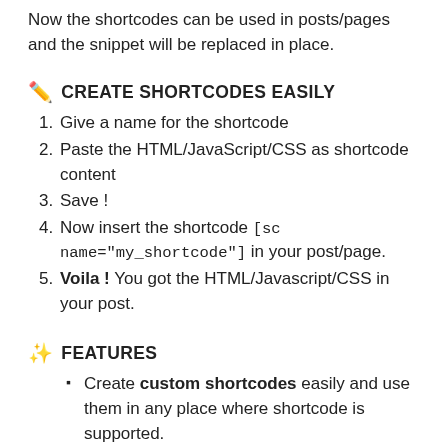Now the shortcodes can be used in posts/pages and the snippet will be replaced in place.
✏ CREATE SHORTCODES EASILY
Give a name for the shortcode
Paste the HTML/JavaScript/CSS as shortcode content
Save !
Now insert the shortcode [sc name="my_shortcode"] in your post/page.
Voila ! You got the HTML/Javascript/CSS in your post.
✨ FEATURES
Create custom shortcodes easily and use them in any place where shortcode is supported.
Have any HTML, Javascript, CSS as Shortcode